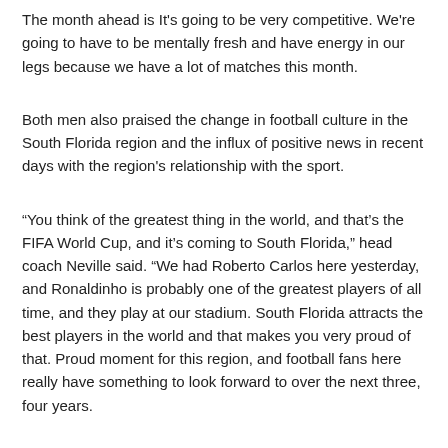The month ahead is It's going to be very competitive. We're going to have to be mentally fresh and have energy in our legs because we have a lot of matches this month.
Both men also praised the change in football culture in the South Florida region and the influx of positive news in recent days with the region's relationship with the sport.
“You think of the greatest thing in the world, and that’s the FIFA World Cup, and it’s coming to South Florida,” head coach Neville said. “We had Roberto Carlos here yesterday, and Ronaldinho is probably one of the greatest players of all time, and they play at our stadium. South Florida attracts the best players in the world and that makes you very proud of that. Proud moment for this region, and football fans here really have something to look forward to over the next three, four years.
Higuáín, who has featured prominently for the Argentina national